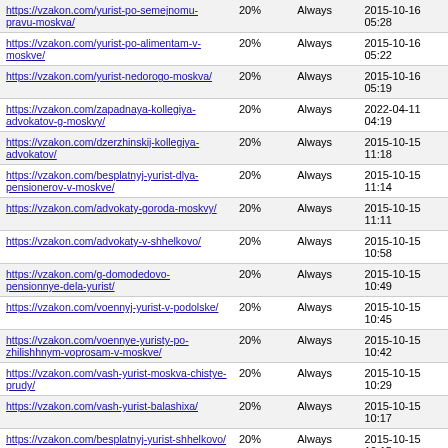| URL | Freq | Priority | Last Modified |
| --- | --- | --- | --- |
| https://vzakon.com/yurist-po-semejnomu-pravu-moskva/ | 20% | Always | 2015-10-16 05:28 |
| https://vzakon.com/yurist-po-alimentam-v-moskve/ | 20% | Always | 2015-10-16 05:22 |
| https://vzakon.com/yurist-nedorogo-moskva/ | 20% | Always | 2015-10-16 05:19 |
| https://vzakon.com/zapadnaya-kollegiya-advokatov-g-moskvy/ | 20% | Always | 2022-04-11 04:19 |
| https://vzakon.com/dzerzhinskij-kollegiya-advokatov/ | 20% | Always | 2015-10-15 11:18 |
| https://vzakon.com/besplatnyj-yurist-dlya-pensionerov-v-moskve/ | 20% | Always | 2015-10-15 11:14 |
| https://vzakon.com/advokaty-goroda-moskvy/ | 20% | Always | 2015-10-15 11:11 |
| https://vzakon.com/advokaty-v-shhelkovo/ | 20% | Always | 2015-10-15 10:58 |
| https://vzakon.com/g-domodedovo-pensionnye-dela-yurist/ | 20% | Always | 2015-10-15 10:49 |
| https://vzakon.com/voennyj-yurist-v-podolske/ | 20% | Always | 2015-10-15 10:45 |
| https://vzakon.com/voennye-yuristy-po-zhilishhnym-voprosam-v-moskve/ | 20% | Always | 2015-10-15 10:42 |
| https://vzakon.com/vash-yurist-moskva-chistye-prudy/ | 20% | Always | 2015-10-15 10:29 |
| https://vzakon.com/vash-yurist-balashixa/ | 20% | Always | 2015-10-15 10:17 |
| https://vzakon.com/besplatnyj-yurist-shhelkovo/ | 20% | Always | 2015-10-15 10:15 |
| https://vzakon.com/besplatnyj-yurist-ximki/ | 20% | Always | 2015-10-15 10:12 |
| https://vzakon.com/besplatnyj-yurist-moskva-kruglosutochno/ | 20% | Always | 2015-10-15 10:08 |